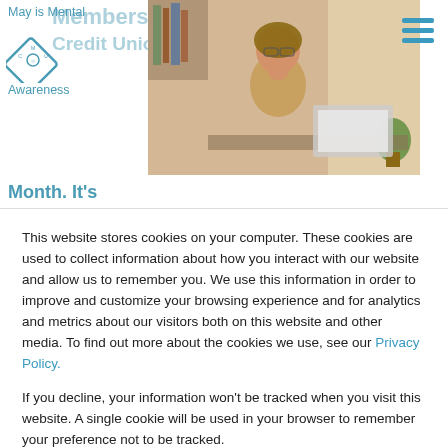Members Credit Union
May is Mental Health Awareness Month. It’s estimated that between 20 to 25 percent of all Americans suffer from some
[Figure (photo): Woman in yellow shirt sitting at a desk thinking, with a laptop in front of her and a window in the background.]
This website stores cookies on your computer. These cookies are used to collect information about how you interact with our website and allow us to remember you. We use this information in order to improve and customize your browsing experience and for analytics and metrics about our visitors both on this website and other media. To find out more about the cookies we use, see our Privacy Policy.

If you decline, your information won’t be tracked when you visit this website. A single cookie will be used in your browser to remember your preference not to be tracked.
Accept
Decline